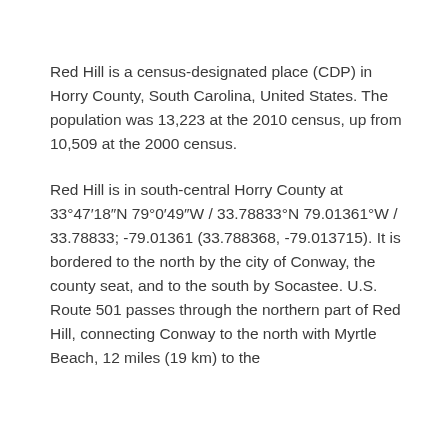Red Hill is a census-designated place (CDP) in Horry County, South Carolina, United States. The population was 13,223 at the 2010 census, up from 10,509 at the 2000 census.
Red Hill is in south-central Horry County at 33°47′18″N 79°0′49″W / 33.78833°N 79.01361°W / 33.78833; -79.01361 (33.788368, -79.013715). It is bordered to the north by the city of Conway, the county seat, and to the south by Socastee. U.S. Route 501 passes through the northern part of Red Hill, connecting Conway to the north with Myrtle Beach, 12 miles (19 km) to the